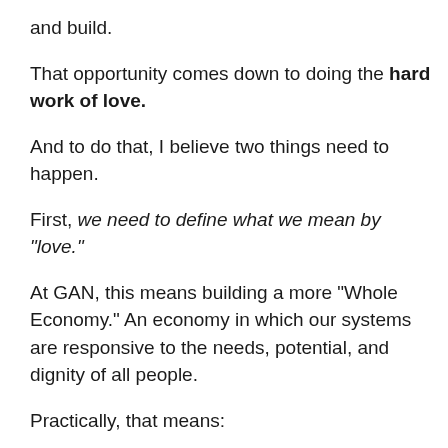and build.
That opportunity comes down to doing the hard work of love.
And to do that, I believe two things need to happen.
First, we need to define what we mean by “love.”
At GAN, this means building a more “Whole Economy.” An economy in which our systems are responsive to the needs, potential, and dignity of all people.
Practically, that means:
Building rapport and connection among our team
Coming alongside our clients, both personally and